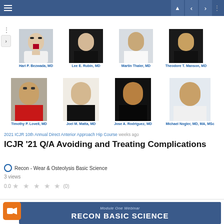Navigation bar with hamburger menu and nav controls
[Figure (photo): Row of doctor headshots: Hari P. Bezwada MD, Lee E. Rubin MD, Martin Thaler MD, Theodore T. Manson MD]
[Figure (photo): Row of doctor headshots: Timothy P. Lovell MD, Joel M. Matta MD, Jose A. Rodriguez MD, Michael Nogler MD MA MSc]
2021 ICJR 10th Annual Direct Anterior Approach Hip Course   weeks ago
ICJR '21 Q/A Avoiding and Treating Complications
Recon - Wear & Osteolysis Basic Science
3 views
0.0   ★ ★ ★ ★ ★   (0)
[Figure (screenshot): Webinar banner: Module One Webinar - RECON BASIC SCIENCE with orange video camera icon and faculty photos below]